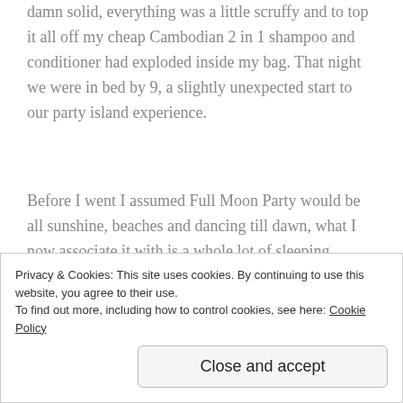damn solid, everything was a little scruffy and to top it all off my cheap Cambodian 2 in 1 shampoo and conditioner had exploded inside my bag. That night we were in bed by 9, a slightly unexpected start to our party island experience.
Before I went I assumed Full Moon Party would be all sunshine, beaches and dancing till dawn, what I now associate it with is a whole lot of sleeping, throwing up disgusting vodka and torrential rain. When we woke up that first morning all dreams of spending the day lying on the beach vanished as we were woken by a heavy thunderstorm and a deluge of rain. We spent the morning
Privacy & Cookies: This site uses cookies. By continuing to use this website, you agree to their use.
To find out more, including how to control cookies, see here: Cookie Policy
Close and accept
familiar with).